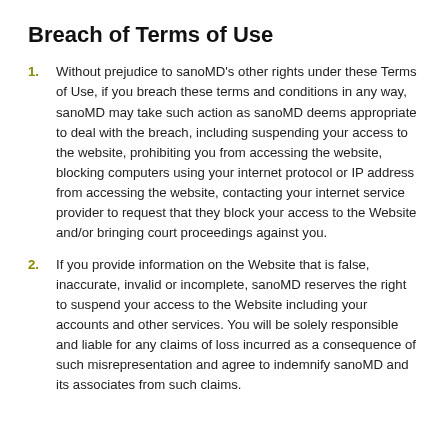Breach of Terms of Use
Without prejudice to sanoMD’s other rights under these Terms of Use, if you breach these terms and conditions in any way, sanoMD may take such action as sanoMD deems appropriate to deal with the breach, including suspending your access to the website, prohibiting you from accessing the website, blocking computers using your internet protocol or IP address from accessing the website, contacting your internet service provider to request that they block your access to the Website and/or bringing court proceedings against you.
If you provide information on the Website that is false, inaccurate, invalid or incomplete, sanoMD reserves the right to suspend your access to the Website including your accounts and other services. You will be solely responsible and liable for any claims of loss incurred as a consequence of such misrepresentation and agree to indemnify sanoMD and its associates from such claims.